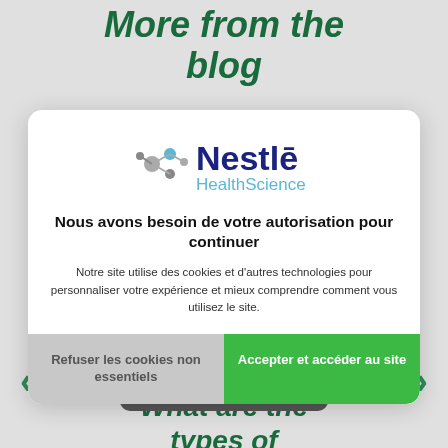More from the blog
[Figure (screenshot): Nestlé HealthScience cookie consent dialog with logo, heading 'Nous avons besoin de votre autorisation pour continuer', body text about cookies, and two buttons: 'Refuser les cookies non essentiels' and 'Accepter et accéder au site']
What are the types of diarrhea?